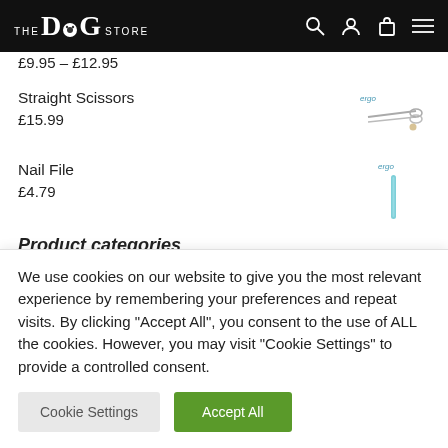THE DOG STORE
£9.95 – £12.95
Straight Scissors
£15.99
Nail File
£4.79
Product categories
We use cookies on our website to give you the most relevant experience by remembering your preferences and repeat visits. By clicking "Accept All", you consent to the use of ALL the cookies. However, you may visit "Cookie Settings" to provide a controlled consent.